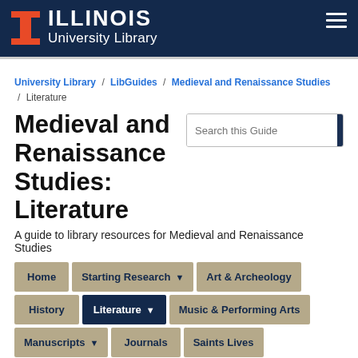ILLINOIS University Library
University Library / LibGuides / Medieval and Renaissance Studies / Literature
Medieval and Renaissance Studies: Literature
A guide to library resources for Medieval and Renaissance Studies
Home
Starting Research
Art & Archeology
History
Literature
Music & Performing Arts
Manuscripts
Journals
Saints Lives
Global Middle Ages